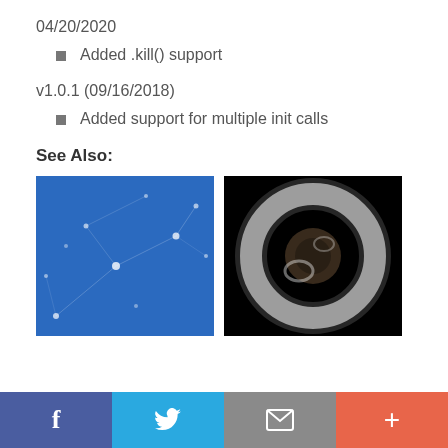04/20/2020
Added .kill() support
v1.0.1 (09/16/2018)
Added support for multiple init calls
See Also:
[Figure (photo): Blue background with network/constellation dot pattern]
[Figure (photo): Black background with white grainy circular ring/torus shape]
f  [Twitter bird]  [envelope]  +